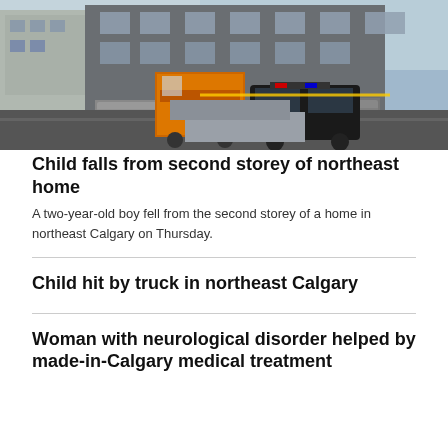[Figure (photo): Street view of townhomes with a police vehicle and moving truck parked outside, yellow caution tape visible near a garage.]
Child falls from second storey of northeast home
A two-year-old boy fell from the second storey of a home in northeast Calgary on Thursday.
Child hit by truck in northeast Calgary
Woman with neurological disorder helped by made-in-Calgary medical treatment